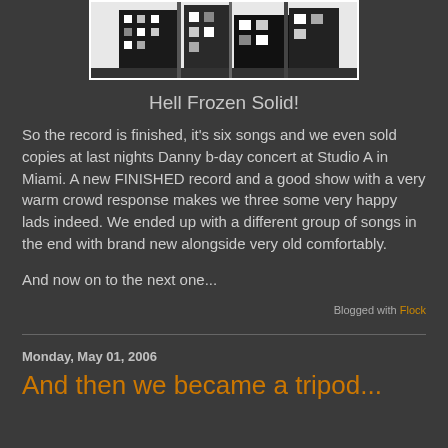[Figure (photo): Black and white high-contrast photograph of buildings/street scene used as blog header image]
Hell Frozen Solid!
So the record is finished, it's six songs and we even sold copies at last nights Danny b-day concert at Studio A in Miami. A new FINISHED record and a good show with a very warm crowd response makes we three some very happy lads indeed. We ended up with a different group of songs in the end with brand new alongside very old comfortably.

And now on to the next one...
Blogged with Flock
Monday, May 01, 2006
And then we became a tripod...